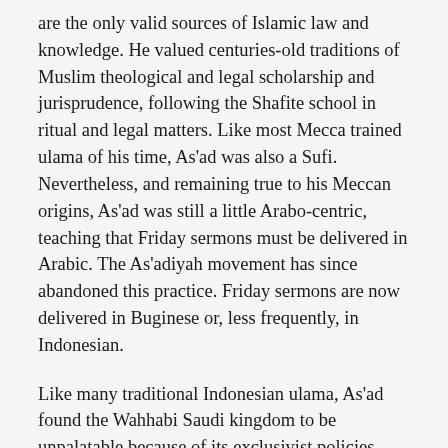are the only valid sources of Islamic law and knowledge. He valued centuries-old traditions of Muslim theological and legal scholarship and jurisprudence, following the Shafite school in ritual and legal matters. Like most Mecca trained ulama of his time, As'ad was also a Sufi. Nevertheless, and remaining true to his Meccan origins, As'ad was still a little Arabo-centric, teaching that Friday sermons must be delivered in Arabic. The As'adiyah movement has since abandoned this practice. Friday sermons are now delivered in Buginese or, less frequently, in Indonesian.
Like many traditional Indonesian ulama, As'ad found the Wahhabi Saudi kingdom to be unpalatable because of its exclusivist policies than banned most traditionalist teachings. He moved to his homeland of Sulawesi in 1928. His purpose was to promote traditionalist orthodoxy and to 'purify' Buginese Islam of what he believed to be deviant teachings, polytheism, and